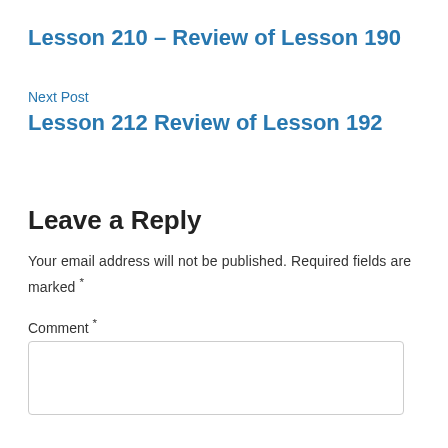Lesson 210 – Review of Lesson 190
Next Post
Lesson 212 Review of Lesson 192
Leave a Reply
Your email address will not be published. Required fields are marked *
Comment *